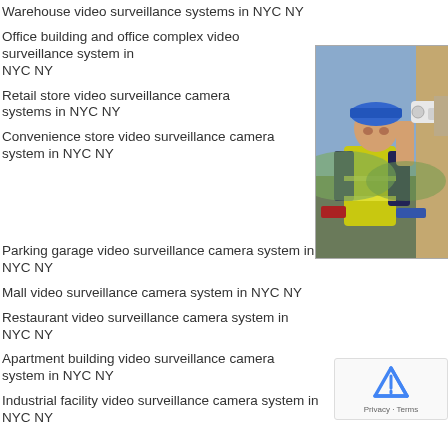Warehouse video surveillance systems in NYC NY
Office building and office complex video surveillance system in NYC NY
[Figure (photo): A worker in a blue hard hat and yellow high-visibility vest installing a CCTV security camera on an exterior wall of a building.]
Retail store video surveillance camera systems in NYC NY
Convenience store video surveillance camera system in NYC NY
Parking garage video surveillance camera system in NYC NY
Mall video surveillance camera system in NYC NY
Restaurant video surveillance camera system in NYC NY
Apartment building video surveillance camera system in NYC NY
Industrial facility video surveillance camera system in NYC NY